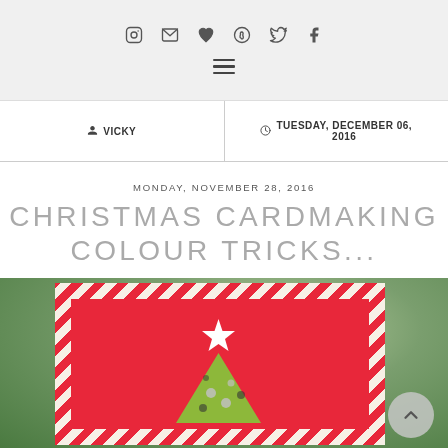Social icons and navigation header
VICKY
TUESDAY, DECEMBER 06, 2016
MONDAY, NOVEMBER 28, 2016
CHRISTMAS CARDMAKING COLOUR TRICKS...
[Figure (photo): Photo of a handmade Christmas card with diagonal red and white striped border, solid red background, yellow-green triangle Christmas tree with sequin decorations, and a white star on top.]